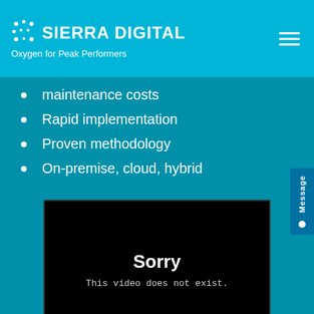Sierra Digital — Oxygen for Peak Performers
maintenance costs
Rapid implementation
Proven methodology
On-premise, cloud, hybrid
[Figure (screenshot): Embedded video player showing error message: Sorry — This video does not exist.]
Sorry
This video does not exist.